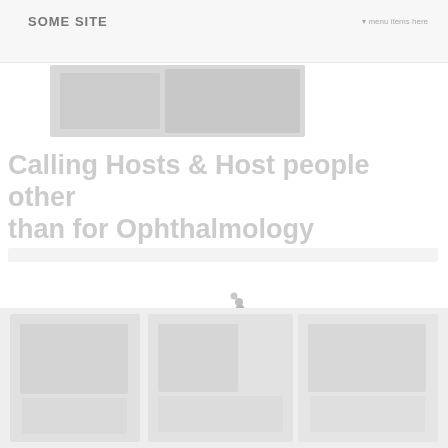[Figure (photo): Partially loaded/blurred hero image area at top of page, showing grayscale placeholder image blocks]
Calling Hosts & Host people other than for Ophthalmology
[Figure (other): Loading spinner animation in center of page]
[Figure (photo): Bottom section with multiple blurred/loading image thumbnails in a grid layout on a light gray background]